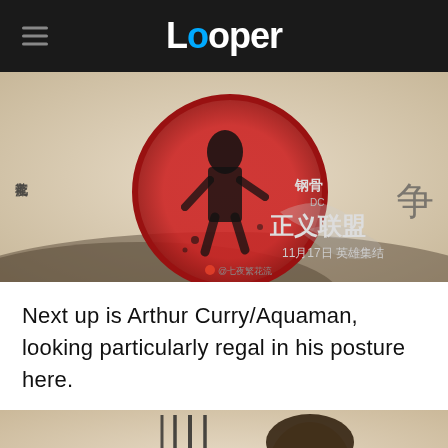Looper
[Figure (illustration): Chinese ink-wash style illustration showing a dark figure against a large red circle, with Chinese calligraphy text reading '钢骨 DC 正义联盟 11月17日 英雄集结' and Weibo watermark '@七夜繁花流']
Next up is Arthur Curry/Aquaman, looking particularly regal in his posture here.
[Figure (illustration): Chinese ink-wash style illustration showing Aquaman (Arthur Curry) with long dark hair, holding a trident, with Chinese characters visible at right side]